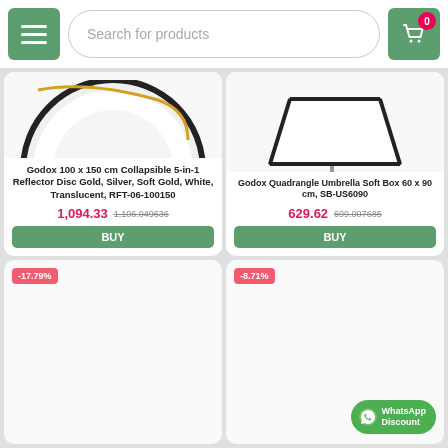Search for products | Menu | Cart (0)
[Figure (photo): Godox 100x150cm collapsible reflector disc, partial view showing white/silver surface]
Godox 100 x 150 cm Collapsible 5-in-1 Reflector Disc Gold, Silver, Soft Gold, White, Translucent, RFT-06-100150
1,094.33 1,106.049636
BUY
[Figure (photo): Godox Quadrangle Umbrella Soft Box 60x90cm on stand, partial view]
Godox Quadrangle Umbrella Soft Box 60 x 90 cm, SB-US6090
629.62 699.007685
BUY
-17.79%
-8.71%
WhatsApp Discount